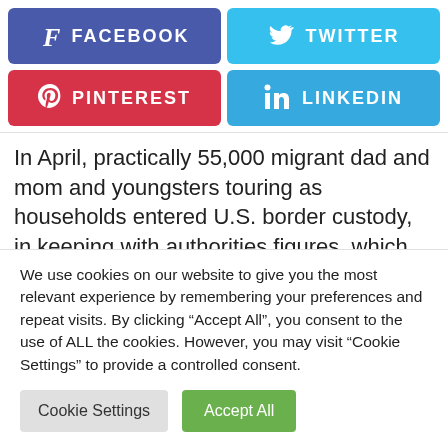[Figure (infographic): Social media share buttons: Facebook (blue-purple), Twitter (light blue), Pinterest (red), LinkedIn (blue)]
In April, practically 55,000 migrant dad and mom and youngsters touring as households entered U.S. border custody, in keeping with authorities figures, which don't point out how lots of the minors had been infants. Moreover, U.S. border officers processed
We use cookies on our website to give you the most relevant experience by remembering your preferences and repeat visits. By clicking "Accept All", you consent to the use of ALL the cookies. However, you may visit "Cookie Settings" to provide a controlled consent.